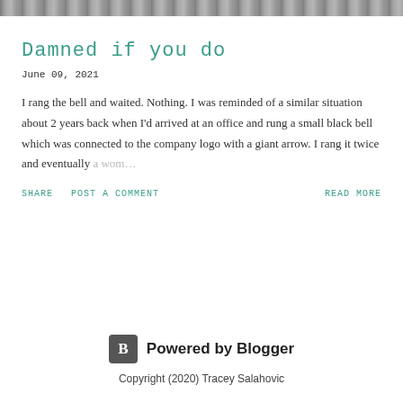[Figure (photo): Grayscale textured image strip at top of page]
Damned if you do
June 09, 2021
I rang the bell and waited. Nothing. I was reminded of a similar situation about 2 years back when I'd arrived at an office and rung a small black bell which was connected to the company logo with a giant arrow. I rang it twice and eventually a wom…
SHARE   POST A COMMENT   READ MORE
[Figure (logo): Powered by Blogger badge with B icon]
Copyright (2020) Tracey Salahovic